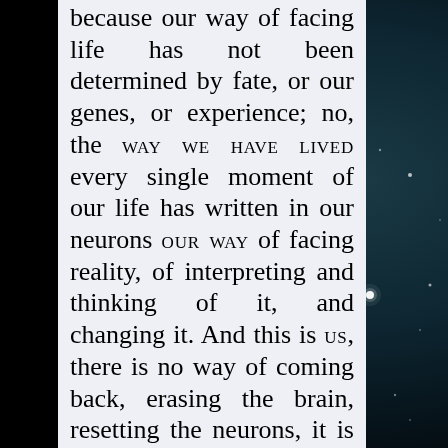because our way of facing life has not been determined by fate, or our genes, or experience; no, the WAY WE HAVE LIVED every single moment of our life has written in our neurons OUR WAY of facing reality, of interpreting and thinking of it, and changing it. And this is US, there is no way of coming back, erasing the brain, resetting the neurons, it is only possible to change some more, possibly with difficulty, proceed on